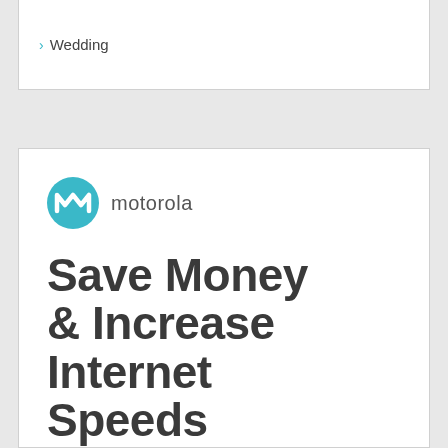› Wedding
[Figure (logo): Motorola logo - teal circle with white M symbol, followed by 'motorola' text in gray]
Save Money & Increase Internet Speeds
Learn How